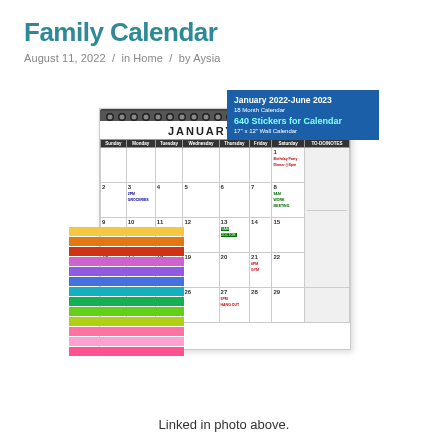Family Calendar
August 11, 2022  /  in Home  /  by Aysia
[Figure (photo): Photo of a wall calendar showing January 2022 with sticker strips, overlaid with a blue product label reading 'January 2022-June 2023 18 Month Calendar 640 Stickers for Calendar 17" x 12" Wall Calendar']
Linked in photo above.